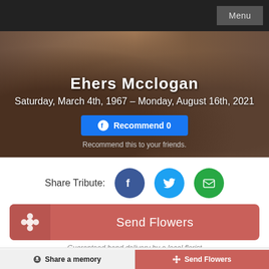Menu
Ehers Mcclogan
Saturday, March 4th, 1967 – Monday, August 16th, 2021
Recommend 0
Recommend this to your friends.
Share Tribute:
Send Flowers
Guaranteed hand delivery by a local florist
Memory Wall
Funeral Details
Share a memory
Send Flowers